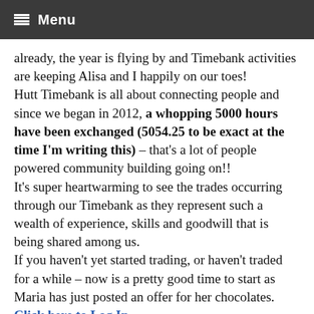Menu
already, the year is flying by and Timebank activities are keeping Alisa and I happily on our toes! Hutt Timebank is all about connecting people and since we began in 2012, a whopping 5000 hours have been exchanged (5054.25 to be exact at the time I'm writing this) – that's a lot of people powered community building going on!! It's super heartwarming to see the trades occurring through our Timebank as they represent such a wealth of experience, skills and goodwill that is being shared among us. If you haven't yet started trading, or haven't traded for a while – now is a pretty good time to start as Maria has just posted an offer for her chocolates. Click here to Log In.
If you've forgotten your password it's super easy to reset it – just click on the 'forgot password' button and